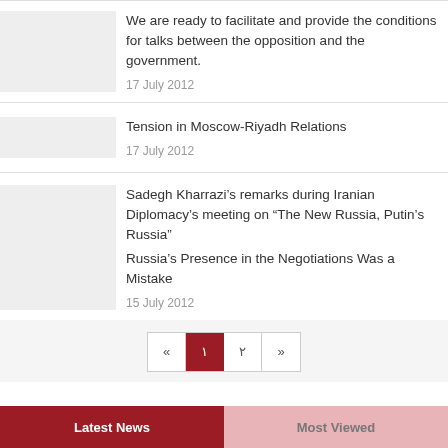We are ready to facilitate and provide the conditions for talks between the opposition and the government.
17 July 2012
Tension in Moscow-Riyadh Relations
17 July 2012
Sadegh Kharrazi's remarks during Iranian Diplomacy's meeting on “The New Russia, Putin's Russia"
Russia's Presence in the Negotiations Was a Mistake
15 July 2012
«  1  ۲  »
Latest News   Most Viewed